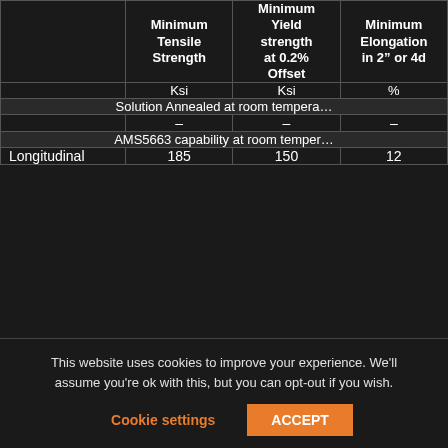|  | Minimum Tensile Strength | Minimum Yield strength at 0.2% Offset | Minimum Elongation in 2" or 4d |
| --- | --- | --- | --- |
|  | Ksi | Ksi | % |
| Solution Annealed at room tempera... |  |  |  |
|  | – | – | – |
| AMS5663 capability at room temper... |  |  |  |
| Longitudinal | 185 | 150 | 12 |
This website uses cookies to improve your experience. We'll assume you're ok with this, but you can opt-out if you wish.
Cookie settings  ACCEPT